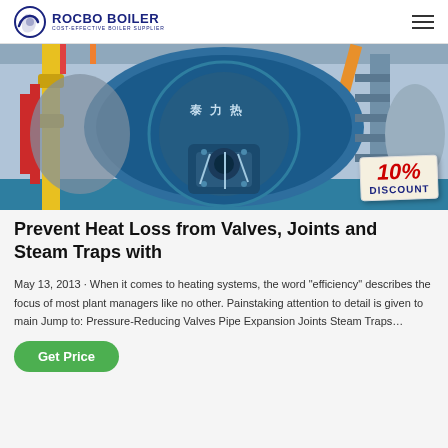ROCBO BOILER — COST-EFFECTIVE BOILER SUPPLIER
[Figure (photo): Industrial boiler room showing a large blue cylindrical boiler with Chinese text markings, yellow piping, red pipes, and a blue burner unit mounted on the front. A 10% DISCOUNT badge overlays the bottom-right corner.]
Prevent Heat Loss from Valves, Joints and Steam Traps with
May 13, 2013 · When it comes to heating systems, the word "efficiency" describes the focus of most plant managers like no other. Painstaking attention to detail is given to main Jump to: Pressure-Reducing Valves Pipe Expansion Joints Steam Traps…
Get Price